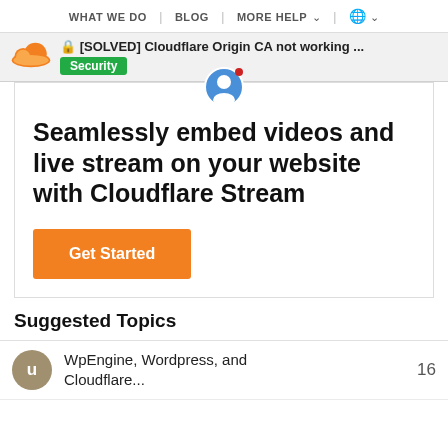WHAT WE DO  |  BLOG  |  MORE HELP  |  🌐
🔒 [SOLVED] Cloudflare Origin CA not working ... Security
[Figure (screenshot): Cloudflare Stream advertisement: 'Seamlessly embed videos and live stream on your website with Cloudflare Stream' with orange 'Get Started' button. A user avatar icon appears at the top center. There is a small red notification dot.]
Suggested Topics
WpEngine, Wordpress, and Cloudflare...
16